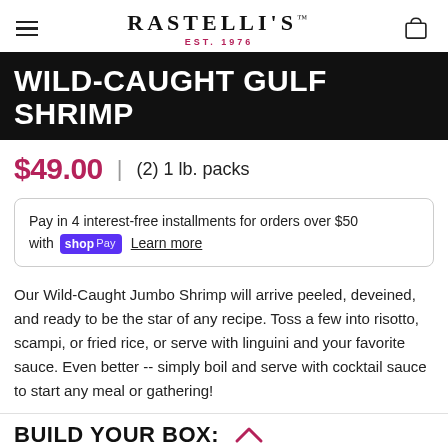RASTELLI'S™ EST. 1976
WILD-CAUGHT GULF SHRIMP
$49.00  |  (2) 1 lb. packs
Pay in 4 interest-free installments for orders over $50 with Shop Pay Learn more
Our Wild-Caught Jumbo Shrimp will arrive peeled, deveined, and ready to be the star of any recipe. Toss a few into risotto, scampi, or fried rice, or serve with linguini and your favorite sauce. Even better -- simply boil and serve with cocktail sauce to start any meal or gathering!
BUILD YOUR BOX: